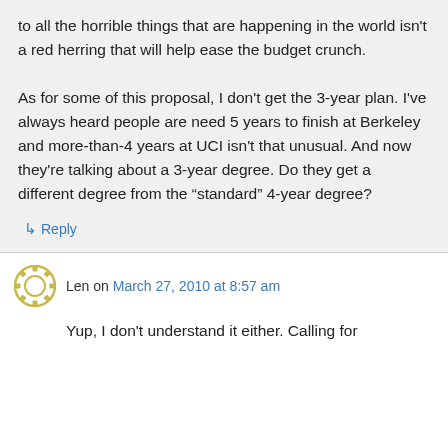to all the horrible things that are happening in the world isn't a red herring that will help ease the budget crunch.

As for some of this proposal, I don't get the 3-year plan. I've always heard people are need 5 years to finish at Berkeley and more-than-4 years at UCI isn't that unusual. And now they're talking about a 3-year degree. Do they get a different degree from the "standard" 4-year degree?
↳ Reply
Len on March 27, 2010 at 8:57 am
Yup, I don't understand it either. Calling for